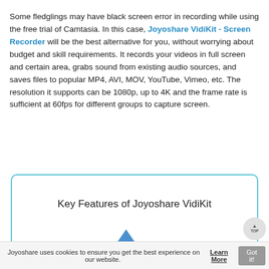Some fledglings may have black screen error in recording while using the free trial of Camtasia. In this case, Joyoshare VidiKit - Screen Recorder will be the best alternative for you, without worrying about budget and skill requirements. It records your videos in full screen and certain area, grabs sound from existing audio sources, and saves files to popular MP4, AVI, MOV, YouTube, Vimeo, etc. The resolution it supports can be 1080p, up to 4K and the frame rate is sufficient at 60fps for different groups to capture screen.
[Figure (infographic): Box with rounded teal border containing title 'Key Features of Joyoshare VidiKit' and partial triangular/arrow graphic at the bottom]
Joyoshare uses cookies to ensure you get the best experience on our website. Learn More  Got it!